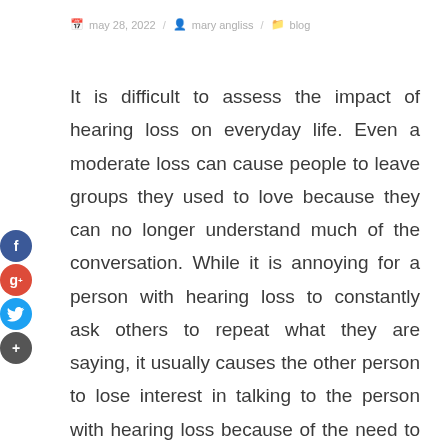may 28, 2022 / mary angliss / blog
It is difficult to assess the impact of hearing loss on everyday life. Even a moderate loss can cause people to leave groups they used to love because they can no longer understand much of the conversation. While it is annoying for a person with hearing loss to constantly ask others to repeat what they are saying, it usually causes the other person to lose interest in talking to the person with hearing loss because of the need to repeat it themselves.